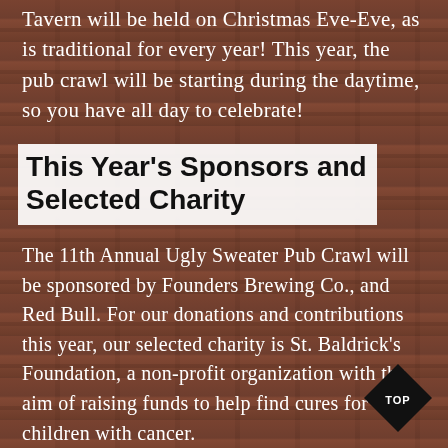Tavern will be held on Christmas Eve-Eve, as is traditional for every year! This year, the pub crawl will be starting during the daytime, so you have all day to celebrate!
This Year's Sponsors and Selected Charity
The 11th Annual Ugly Sweater Pub Crawl will be sponsored by Founders Brewing Co., and Red Bull. For our donations and contributions this year, our selected charity is St. Baldrick's Foundation, a non-profit organization with the aim of raising funds to help find cures for children with cancer.